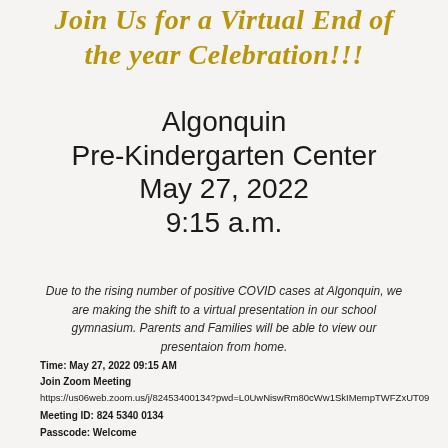Join Us for a Virtual End of the year Celebration!!!
Algonquin Pre-Kindergarten Center May 27, 2022 9:15 a.m.
Due to the rising number of positive COVID cases at Algonquin, we are making the shift to a virtual presentation in our school gymnasium. Parents and Families will be able to view our presentaion from home.
Time: May 27, 2022 09:15 AM
Join Zoom Meeting
https://us06web.zoom.us/j/82453400134?pwd=L0UwNiswRm80cWw1SkIMempTWFZxUT09
Meeting ID: 824 5340 0134
Passcode: Welcome